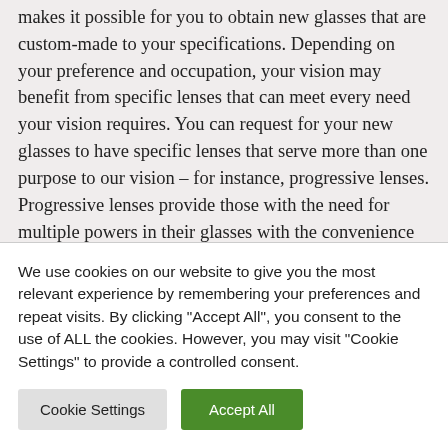makes it possible for you to obtain new glasses that are custom-made to your specifications. Depending on your preference and occupation, your vision may benefit from specific lenses that can meet every need your vision requires. You can request for your new glasses to have specific lenses that serve more than one purpose to our vision – for instance, progressive lenses. Progressive lenses provide those with the need for multiple powers in their glasses with the convenience of not having to switch off their glasses constantly.
We use cookies on our website to give you the most relevant experience by remembering your preferences and repeat visits. By clicking "Accept All", you consent to the use of ALL the cookies. However, you may visit "Cookie Settings" to provide a controlled consent.